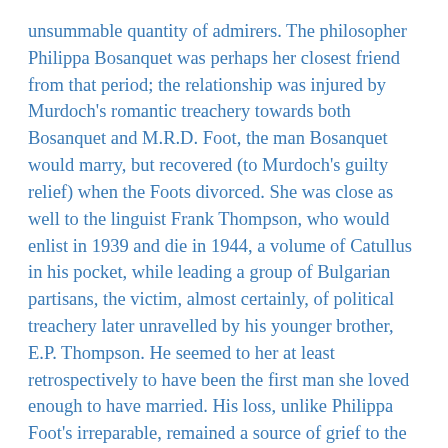unsummable quantity of admirers. The philosopher Philippa Bosanquet was perhaps her closest friend from that period; the relationship was injured by Murdoch's romantic treachery towards both Bosanquet and M.R.D. Foot, the man Bosanquet would marry, but recovered (to Murdoch's guilty relief) when the Foots divorced. She was close as well to the linguist Frank Thompson, who would enlist in 1939 and die in 1944, a volume of Catullus in his pocket, while leading a group of Bulgarian partisans, the victim, almost certainly, of political treachery later unravelled by his younger brother, E.P. Thompson. He seemed to her at least retrospectively to have been the first man she loved enough to have married. His loss, unlike Philippa Foot's irreparable, remained a source of grief to the end of her life.
With her First in classics, Murdoch left Oxford in 1942 to spend the next three years in London, working first at the Treasury and then, in 1944, in an unsuccessful effort to escape London and romantic entanglements, at the United Nations Relief and Rehabilitation Administration. Late in 1945 UNRRA sent her to